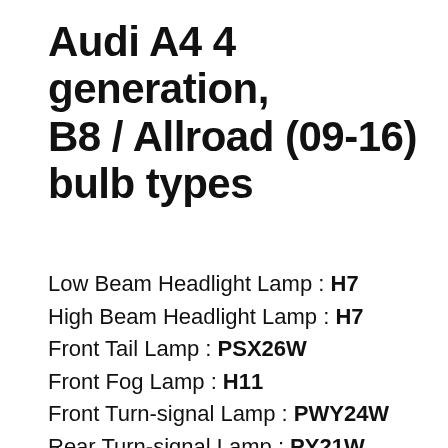Audi A4 4 generation, B8 / Allroad (09-16) bulb types
Low Beam Headlight Lamp : H7
High Beam Headlight Lamp : H7
Front Tail Lamp : PSX26W
Front Fog Lamp : H11
Front Turn-signal Lamp : PWY24W
Rear Turn-signal Lamp : PY21W